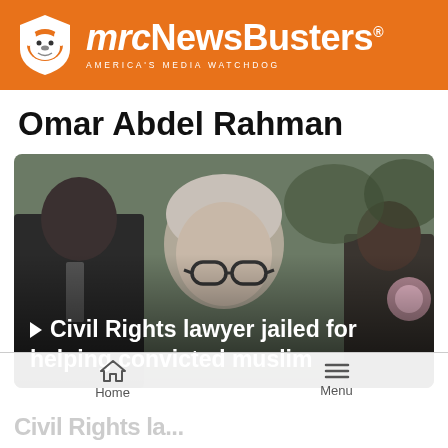mrcNewsBusters — AMERICA'S MEDIA WATCHDOG
Omar Abdel Rahman
[Figure (screenshot): Video thumbnail showing a woman with gray hair and glasses in a crowd, with overlay text: '▶ Civil Rights lawyer jailed for helping convicted muslim']
Home   Menu